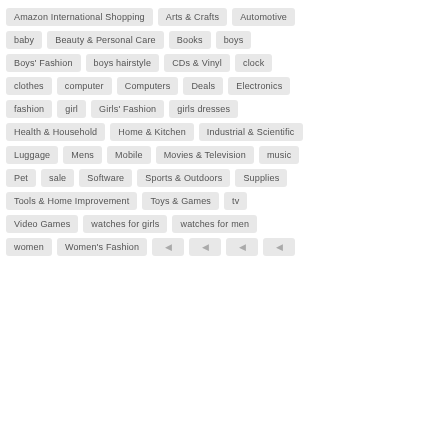Amazon International Shopping
Arts & Crafts
Automotive
baby
Beauty & Personal Care
Books
boys
Boys' Fashion
boys hairstyle
CDs & Vinyl
clock
clothes
computer
Computers
Deals
Electronics
fashion
girl
Girls' Fashion
girls dresses
Health & Household
Home & Kitchen
Industrial & Scientific
Luggage
Mens
Mobile
Movies & Television
music
Pet
sale
Software
Sports & Outdoors
Supplies
Tools & Home Improvement
Toys & Games
tv
Video Games
watches for girls
watches for men
women
Women's Fashion